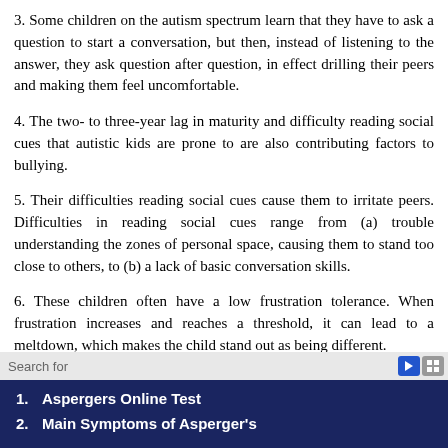3. Some children on the autism spectrum learn that they have to ask a question to start a conversation, but then, instead of listening to the answer, they ask question after question, in effect drilling their peers and making them feel uncomfortable.
4. The two- to three-year lag in maturity and difficulty reading social cues that autistic kids are prone to are also contributing factors to bullying.
5. Their difficulties reading social cues cause them to irritate peers. Difficulties in reading social cues range from (a) trouble understanding the zones of personal space, causing them to stand too close to others, to (b) a lack of basic conversation skills.
6. These children often have a low frustration tolerance. When frustration increases and reaches a threshold, it can lead to a meltdown, which makes the child stand out as being different.
Search for
1. Aspergers Online Test
2. Main Symptoms of Asperger's